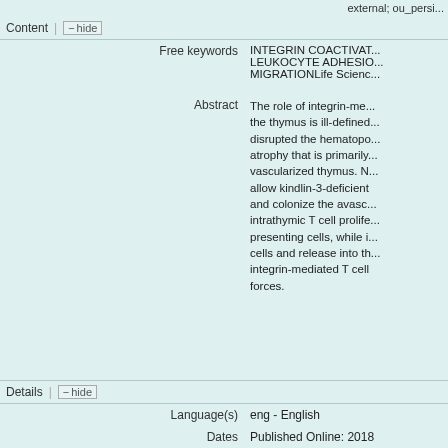external; ou_persist
Content | hide
Free keywords: INTEGRIN COACTIVATION LEUKOCYTE ADHESION MIGRATIONLife Science
Abstract: The role of integrin-mediated ... forces.
Details | hide
Language(s): eng - English
Dates: Published Online: 2018
Publication Status: Published online
Pages: 28
Publishing info: -